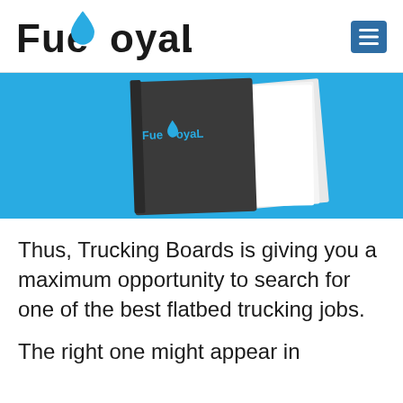FueLoyaL
[Figure (photo): A book/brochure with the FueLoyaL logo on the cover, displayed on a blue background. Only the top portion of the book is visible.]
Thus, Trucking Boards is giving you a maximum opportunity to search for one of the best flatbed trucking jobs.
The right one might appear in